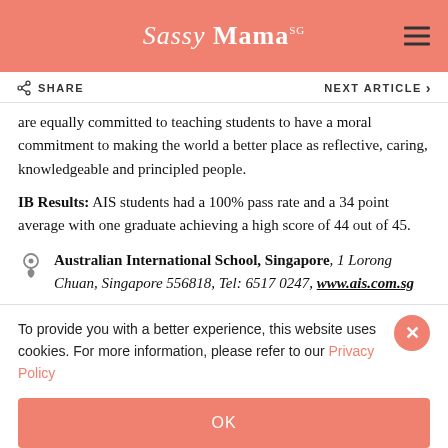Sassy Mama SG
are equally committed to teaching students to have a moral commitment to making the world a better place as reflective, caring, knowledgeable and principled people.
IB Results: AIS students had a 100% pass rate and a 34 point average with one graduate achieving a high score of 44 out of 45.
Australian International School, Singapore, 1 Lorong Chuan, Singapore 556818, Tel: 6517 0247, www.ais.com.sg
To provide you with a better experience, this website uses cookies. For more information, please refer to our Privacy Policy
OK